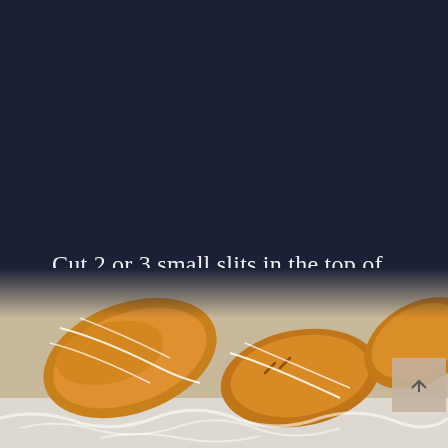Cut 2 or 3 small slits in the top of each turnover, then brush each one with egg wash.
Bake for 20–24 minutes or until golden brown and puffed.
[Figure (photo): Close-up photograph of golden brown baked turnovers/pastries with white icing drizzled on top, arranged on a light surface. A scroll-to-top button is visible in the bottom right corner.]